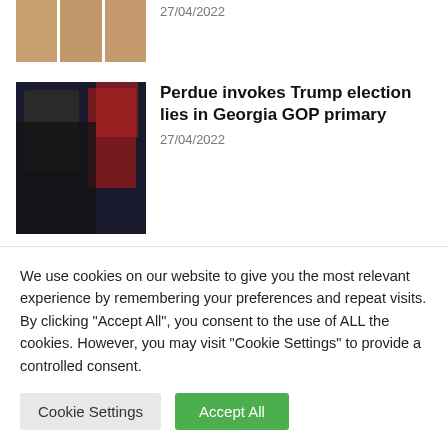[Figure (photo): Three faces partially visible in orange-tinted thumbnails, top of page cropped]
27/04/2022
[Figure (photo): Man in black suit gesturing in front of Donald Trump at a rally with American flags]
Perdue invokes Trump election lies in Georgia GOP primary
27/04/2022
[Figure (photo): People seated in a bright room, courtroom or meeting setting, with some standing]
Why was Melissa Lucio, a death row inmate, delayed her execution?
27/04/2022
We use cookies on our website to give you the most relevant experience by remembering your preferences and repeat visits. By clicking "Accept All", you consent to the use of ALL the cookies. However, you may visit "Cookie Settings" to provide a controlled consent.